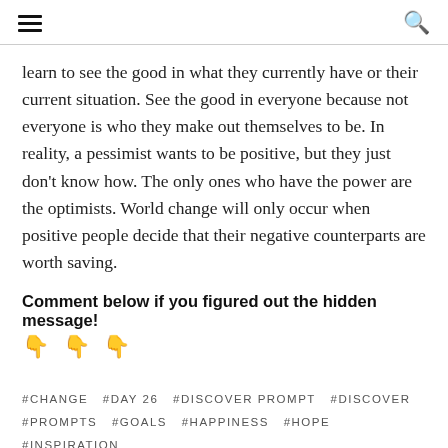≡  🔍
learn to see the good in what they currently have or their current situation. See the good in everyone because not everyone is who they make out themselves to be. In reality, a pessimist wants to be positive, but they just don't know how. The only ones who have the power are the optimists. World change will only occur when positive people decide that their negative counterparts are worth saving.
Comment below if you figured out the hidden message! 👇👇👇
#CHANGE  #DAY 26  #DISCOVER PROMPT  #DISCOVER PROMPTS  #GOALS  #HAPPINESS  #HOPE  #INSPIRATION